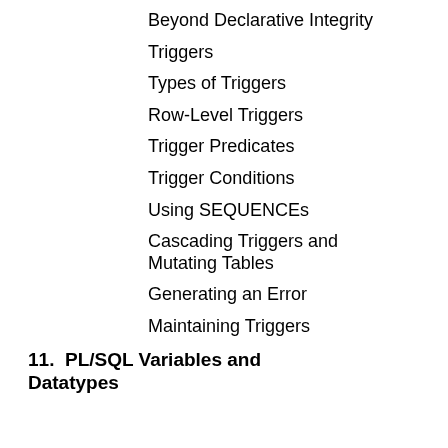Beyond Declarative Integrity
Triggers
Types of Triggers
Row-Level Triggers
Trigger Predicates
Trigger Conditions
Using SEQUENCEs
Cascading Triggers and Mutating Tables
Generating an Error
Maintaining Triggers
11.  PL/SQL Variables and Datatypes